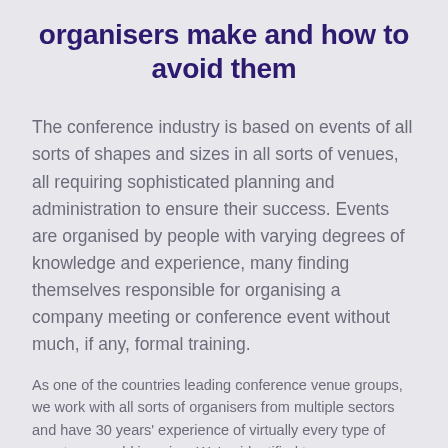organisers make and how to avoid them
The conference industry is based on events of all sorts of shapes and sizes in all sorts of venues, all requiring sophisticated planning and administration to ensure their success. Events are organised by people with varying degrees of knowledge and experience, many finding themselves responsible for organising a company meeting or conference event without much, if any, formal training.
As one of the countries leading conference venue groups, we work with all sorts of organisers from multiple sectors and have 30 years' experience of virtually every type of event you could imagine. We've identified ten common mistakes that organisers make and how you can avoid them: